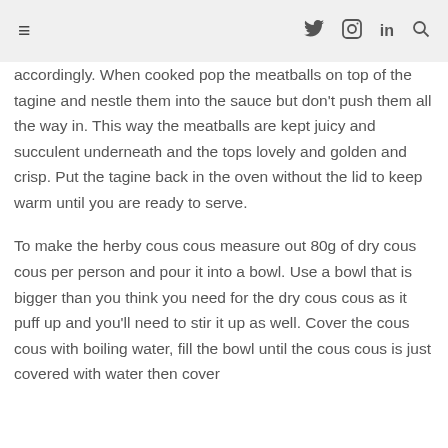≡  🐦  📷  in  🔍
accordingly. When cooked pop the meatballs on top of the tagine and nestle them into the sauce but don't push them all the way in. This way the meatballs are kept juicy and succulent underneath and the tops lovely and golden and crisp. Put the tagine back in the oven without the lid to keep warm until you are ready to serve.
To make the herby cous cous measure out 80g of dry cous cous per person and pour it into a bowl. Use a bowl that is bigger than you think you need for the dry cous cous as it puff up and you'll need to stir it up as well. Cover the cous cous with boiling water, fill the bowl until the cous cous is just covered with water then cover